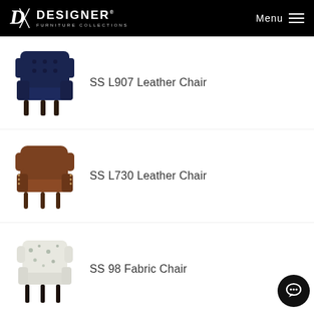DESIGNER FURNITURE COLLECTIONS — Menu
[Figure (photo): Navy blue leather wingback chair with tufted back and dark wood legs — SS L907 Leather Chair]
SS L907 Leather Chair
[Figure (photo): Brown leather wingback chair with nailhead trim and carved wood legs — SS L730 Leather Chair]
SS L730 Leather Chair
[Figure (photo): Floral/toile patterned fabric accent chair with dark wood legs — SS 98 Fabric Chair]
SS 98 Fabric Chair